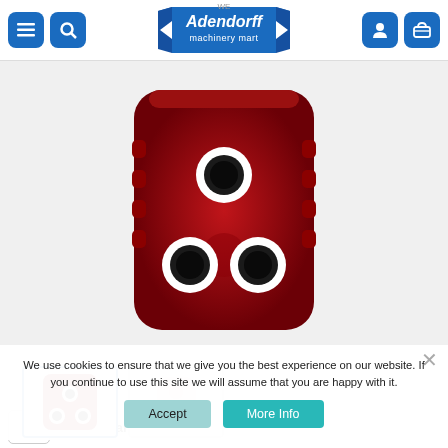Adendorff machinery mart - navigation header with menu, search, account, and cart icons
[Figure (photo): Red translucent plastic electrical plug/adapter viewed from the back, showing three circular socket holes with white ring surrounds - one at top center and two at bottom, on a dark red molded plastic body with ribbed sides]
[Figure (photo): Thumbnail 1: Same red electrical plug product shown from a slightly different angle]
[Figure (photo): Thumbnail 2: Light pink/translucent version of the same plug product]
We use cookies to ensure that we give you the best experience on our website. If you continue to use this site we will assume that you are happy with it.
Accept
More Info
Features and Benefits